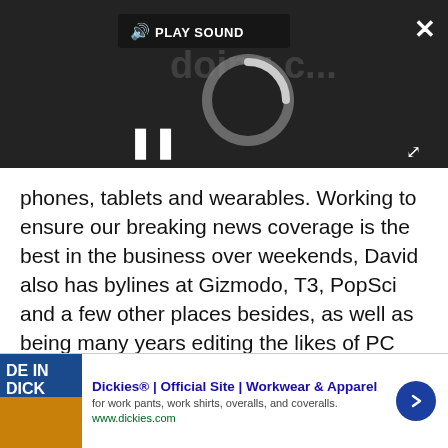[Figure (screenshot): Video player with dark background showing a loading spinner, pause button, play sound bar at top, close button top-right, and expand button bottom-right]
phones, tablets and wearables. Working to ensure our breaking news coverage is the best in the business over weekends, David also has bylines at Gizmodo, T3, PopSci and a few other places besides, as well as being many years editing the likes of PC Explorer and The Hardware Handbook.
[Figure (infographic): Advertisement banner for Dickies — Official Site, Workwear & Apparel with image of DE IN DICK text, title, description and www.dickies.com URL with blue arrow button]